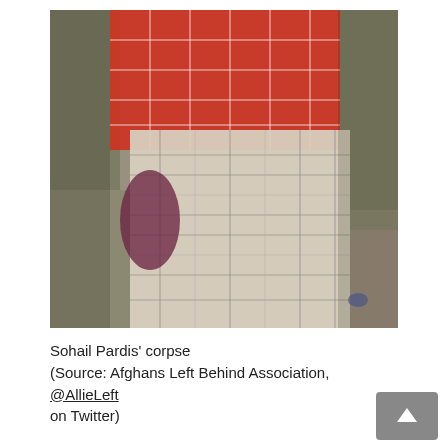[Figure (photo): Close-up photograph of Sohail Pardis' corpse, showing clothing including a red plaid fabric and a white/grey plaid garment, on a ground surface.]
Sohail Pardis' corpse (Source: Afghans Left Behind Association, @AllieLeft on Twitter)